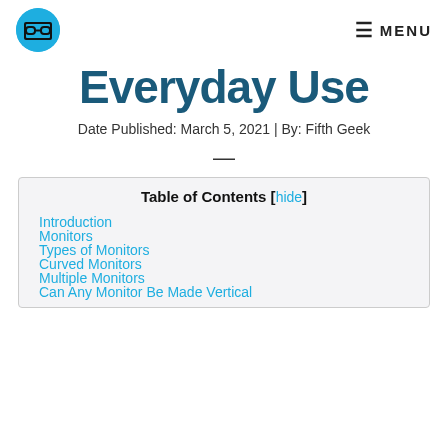MENU
Everyday Use
Date Published: March 5, 2021 | By: Fifth Geek
Table of Contents [hide]
Introduction
Monitors
Types of Monitors
Curved Monitors
Multiple Monitors
Can Any Monitor Be Made Vertical